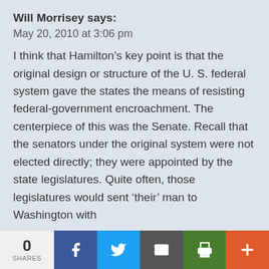Will Morrisey says:
May 20, 2010 at 3:06 pm
I think that Hamilton’s key point is that the original design or structure of the U. S. federal system gave the states the means of resisting federal-government encroachment. The centerpiece of this was the Senate. Recall that the senators under the original system were not elected directly; they were appointed by the state legislatures. Quite often, those legislatures would sent ‘their’ man to Washington with
0 SHARES | Facebook | Twitter | Email | Print | More